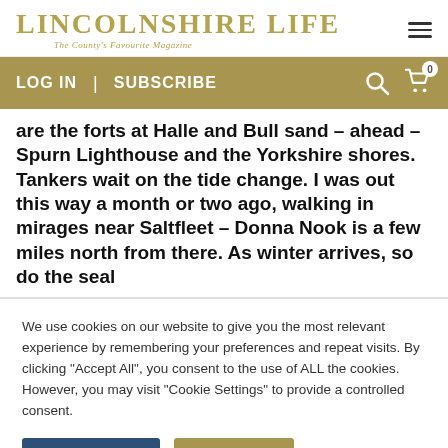LINCOLNSHIRE LIFE | The County's Favourite Magazine
LOG IN | SUBSCRIBE
are the forts at Halle and Bull sand – ahead – Spurn Lighthouse and the Yorkshire shores. Tankers wait on the tide change. I was out this way a month or two ago, walking in mirages near Saltfleet – Donna Nook is a few miles north from there. As winter arrives, so do the seal
We use cookies on our website to give you the most relevant experience by remembering your preferences and repeat visits. By clicking "Accept All", you consent to the use of ALL the cookies. However, you may visit "Cookie Settings" to provide a controlled consent.